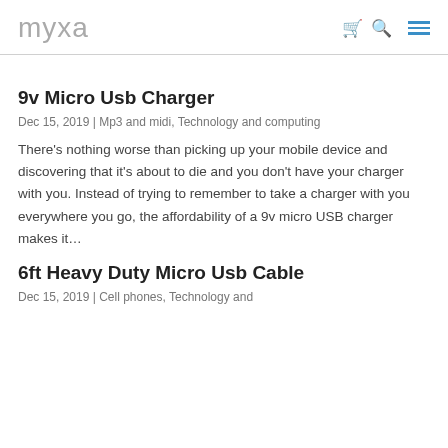myxa
9v Micro Usb Charger
Dec 15, 2019 | Mp3 and midi, Technology and computing
There's nothing worse than picking up your mobile device and discovering that it's about to die and you don't have your charger with you. Instead of trying to remember to take a charger with you everywhere you go, the affordability of a 9v micro USB charger makes it…
6ft Heavy Duty Micro Usb Cable
Dec 15, 2019 | Cell phones, Technology and